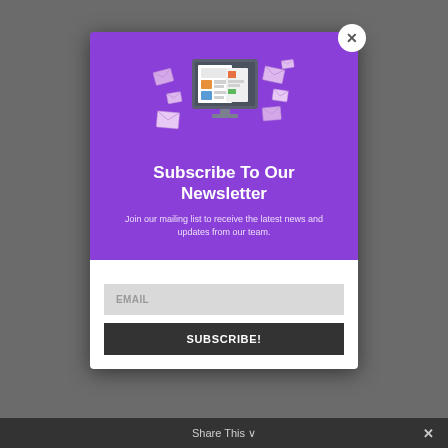[Figure (illustration): Newsletter subscription popup modal with purple header showing a computer monitor with newspaper/mail illustration and envelope icons flying around it]
Subscribe To Our Newsletter
Join our mailing list to receive the latest news and updates from our team.
[Figure (screenshot): Email input field with placeholder text EMAIL]
SUBSCRIBE!
Share This ×